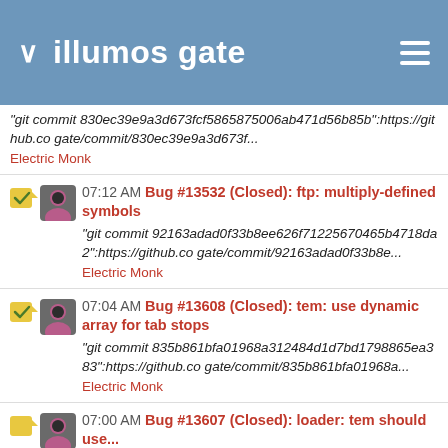illumos gate
"git commit 830ec39e9a3d673fcf5865875006ab471d56b85b":https://github.co gate/commit/830ec39e9a3d673f...
Electric Monk
07:12 AM Bug #13532 (Closed): ftp: multiply-defined symbols
"git commit 92163adad0f33b8ee626f71225670465b4718da2":https://github.co gate/commit/92163adad0f33b8e...
Electric Monk
07:04 AM Bug #13608 (Closed): tem: use dynamic array for tab stops
"git commit 835b861bfa01968a312484d1d7bd1798865ea383":https://github.co gate/commit/835b861bfa01968a...
Electric Monk
07:00 AM Bug #13607 (Closed): loader: tem should use...